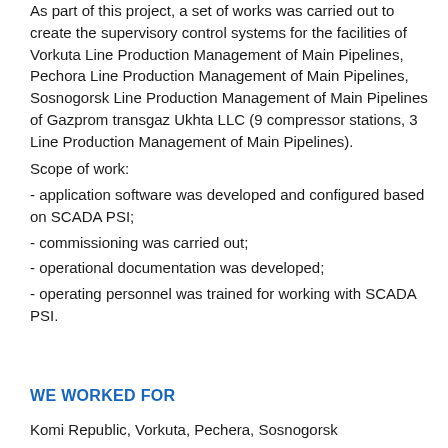As part of this project, a set of works was carried out to create the supervisory control systems for the facilities of Vorkuta Line Production Management of Main Pipelines, Pechora Line Production Management of Main Pipelines, Sosnogorsk Line Production Management of Main Pipelines of Gazprom transgaz Ukhta LLC (9 compressor stations, 3 Line Production Management of Main Pipelines).
Scope of work:
- application software was developed and configured based on SCADA PSI;
- commissioning was carried out;
- operational documentation was developed;
- operating personnel was trained for working with SCADA PSI.
WE WORKED FOR
Komi Republic, Vorkuta, Pechera, Sosnogorsk